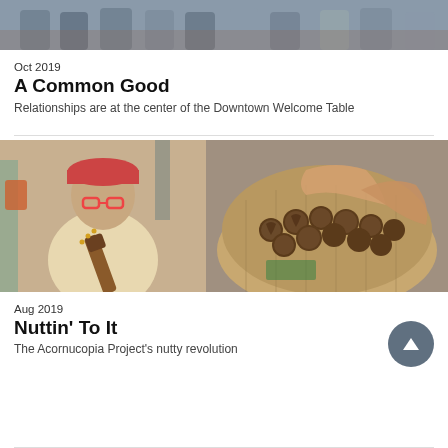[Figure (photo): Group of people standing outdoors in front of a brick building, partial view cropped at top of page]
Oct 2019
A Common Good
Relationships are at the center of the Downtown Welcome Table
[Figure (photo): Two photos side by side: left shows an older man with red glasses and cap holding a guitar neck outdoors; right shows hands holding a burlap sack full of walnuts]
Aug 2019
Nuttin' To It
The Acornucopia Project's nutty revolution